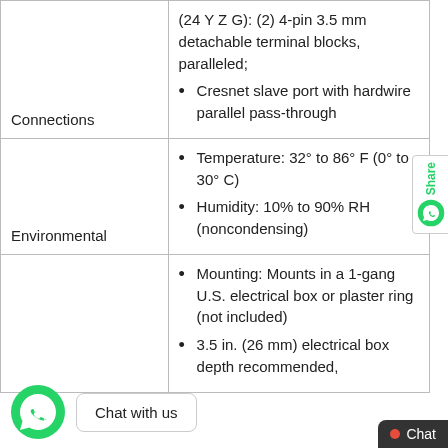| Category | Specification |
| --- | --- |
| Connections | (24 Y Z G): (2) 4-pin 3.5 mm detachable terminal blocks, paralleled; Cresnet slave port with hardwire parallel pass-through |
| Environmental | Temperature: 32° to 86° F (0° to 30° C)
Humidity: 10% to 90% RH (noncondensing) |
|  | Mounting: Mounts in a 1-gang U.S. electrical box or plaster ring (not included)
3.5 in. (26 mm) electrical box depth recommended, |